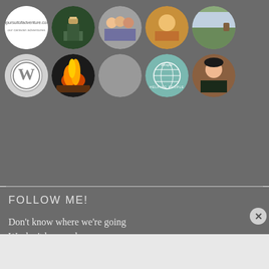[Figure (screenshot): Grid of circular avatar/profile images on a dark gray background - two rows of five circles each showing various profile photos, logos, and icons]
FOLLOW ME!
Don't know where we're going
We don't know when
[Figure (screenshot): DuckDuckGo advertisement banner: orange background with text 'Search, browse, and email with more privacy. All in One Free App' and phone image with DuckDuckGo logo]